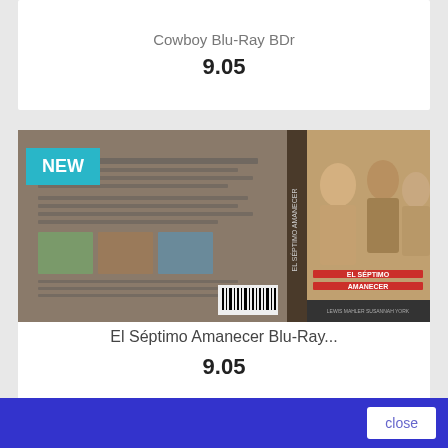Cowboy Blu-Ray BDr
9.05
[Figure (photo): Blu-ray cover for El Séptimo Amanecer showing movie artwork with actors and text]
El Séptimo Amanecer Blu-Ray...
9.05
close